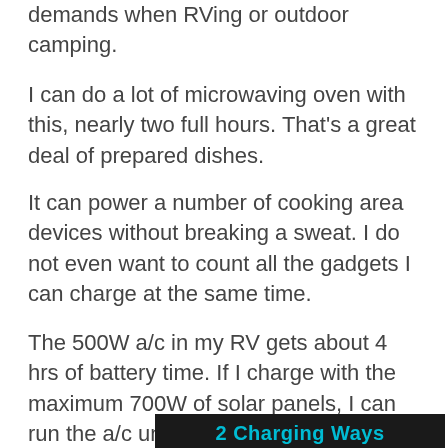demands when RVing or outdoor camping.
I can do a lot of microwaving oven with this, nearly two full hours. That’s a great deal of prepared dishes.
It can power a number of cooking area devices without breaking a sweat. I do not even want to count all the gadgets I can charge at the same time.
The 500W a/c in my RV gets about 4 hrs of battery time. If I charge with the maximum 700W of solar panels, I can run the a/c unit the whole day, as long as I have the sun.
[Figure (photo): Image showing '2 Charging Ways' text in cyan on dark background with charging icons below]